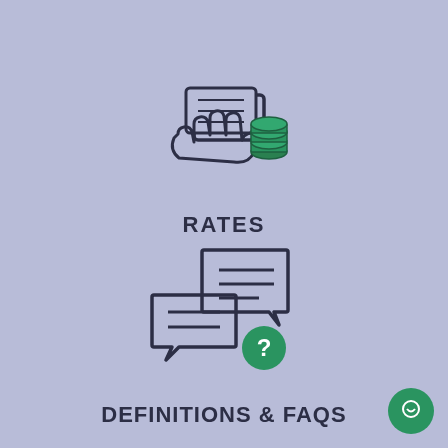[Figure (illustration): Icon of a hand holding money/cash with stacked green coins, representing rates]
RATES
[Figure (illustration): Icon of two speech bubbles with horizontal lines and a green circle with question mark, representing definitions and FAQs]
DEFINITIONS & FAQS